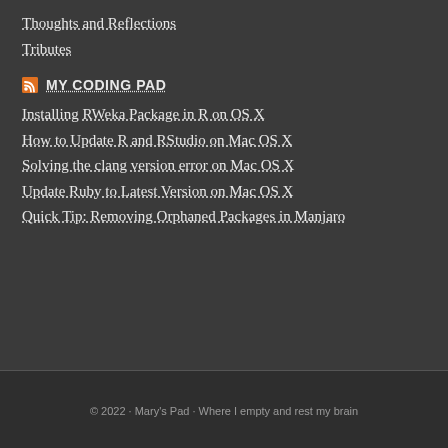Thoughts and Reflections
Tributes
MY CODING PAD
Installing RWeka Package in R on OS X
How to Update R and RStudio on Mac OS X
Solving the clang version error on Mac OS X
Update Ruby to Latest Version on Mac OS X
Quick Tip: Removing Orphaned Packages in Manjaro
© 2022 · Mary's Pad · Where I empty and rest my brain